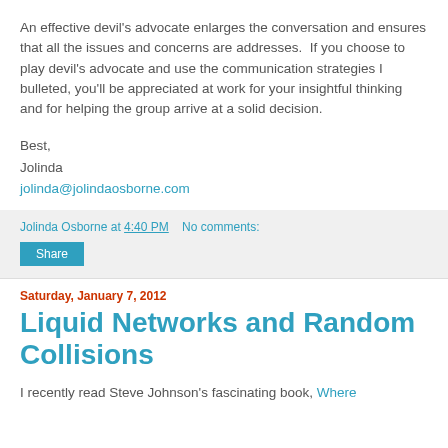An effective devil's advocate enlarges the conversation and ensures that all the issues and concerns are addresses. If you choose to play devil's advocate and use the communication strategies I bulleted, you'll be appreciated at work for your insightful thinking and for helping the group arrive at a solid decision.
Best,
Jolinda
jolinda@jolindaosborne.com
Jolinda Osborne at 4:40 PM   No comments:
Share
Saturday, January 7, 2012
Liquid Networks and Random Collisions
I recently read Steve Johnson's fascinating book, Where